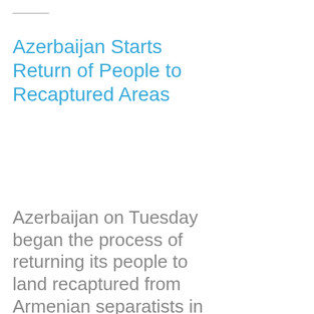Azerbaijan Starts Return of People to Recaptured Areas
Azerbaijan on Tuesday began the process of returning its people to land recaptured from Armenian separatists in
19/07/2022
Poland to Acquire 24 Turkish-Made